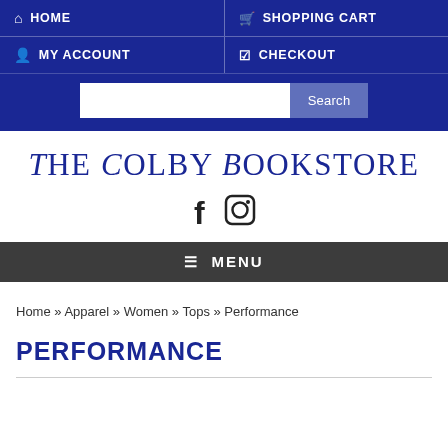HOME | MY ACCOUNT | SHOPPING CART | CHECKOUT
The Colby Bookstore
[Figure (logo): Facebook and Instagram social media icons]
≡ MENU
Home » Apparel » Women » Tops » Performance
PERFORMANCE